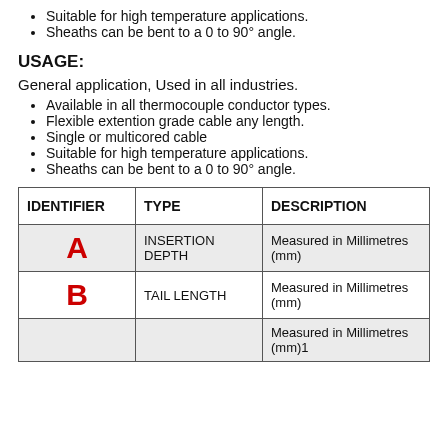Suitable for high temperature applications.
Sheaths can be bent to a 0 to 90° angle.
USAGE:
General application, Used in all industries.
Available in all thermocouple conductor types.
Flexible extention grade cable any length.
Single or multicored cable
Suitable for high temperature applications.
Sheaths can be bent to a 0 to 90° angle.
| IDENTIFIER | TYPE | DESCRIPTION |
| --- | --- | --- |
| A | INSERTION DEPTH | Measured in Millimetres (mm) |
| B | TAIL LENGTH | Measured in Millimetres (mm) |
|  |  | Measured in Millimetres (mm)1 |